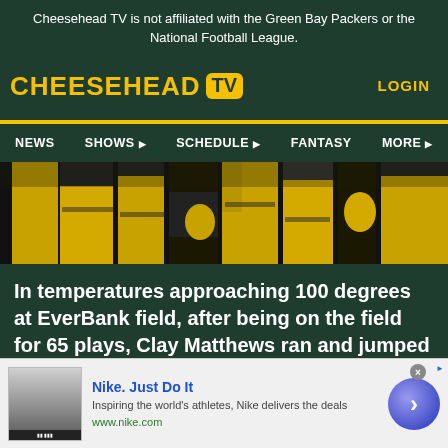Cheesehead TV is not affiliated with the Green Bay Packers or the National Football League.
[Figure (logo): Cheesehead TV logo with yellow text and TV icon on dark green background, with LOGIN button on the right]
[Figure (photo): Close-up photograph of Green Bay Packers players in yellow and black uniforms, showing lower body/legs area on the field]
In temperatures approaching 100 degrees at EverBank field, after being on the field for 65 plays, Clay Matthews ran and jumped into Letroy Guion's arms, the pair celebrating the Green Bay Packers'
[Figure (infographic): Nike advertisement banner: 'Nike. Just Do It' - Inspiring the world's athletes, Nike delivers the deals. www.nike.com. With a thumbnail image and a blue circular CTA button with arrow.]